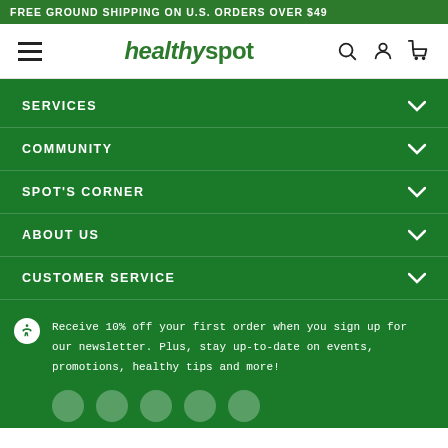FREE GROUND SHIPPING ON U.S. ORDERS OVER $49
[Figure (logo): healthyspot logo with hamburger menu, search, account, and cart icons in navigation header]
SERVICES
COMMUNITY
SPOT'S CORNER
ABOUT US
CUSTOMER SERVICE
Receive 10% off your first order when you sign up for our newsletter. Plus, stay up-to-date on events, promotions, healthy tips and more!
[Figure (illustration): Social media icons row - 5 circular social media buttons]